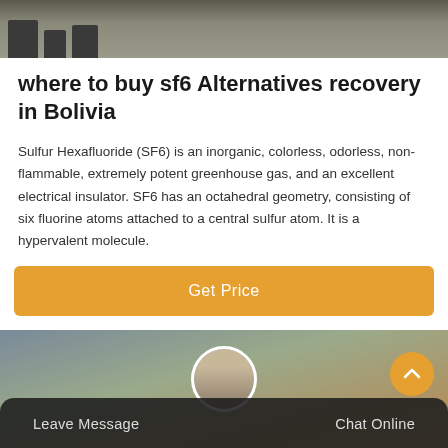[Figure (photo): Outdoor industrial/equipment scene, gray tones, top strip image]
where to buy sf6 Alternatives recovery in Bolivia
Sulfur Hexafluoride (SF6) is an inorganic, colorless, odorless, non-flammable, extremely potent greenhouse gas, and an excellent electrical insulator. SF6 has an octahedral geometry, consisting of six fluorine atoms attached to a central sulfur atom. It is a hypervalent molecule.
[Figure (other): Get Price button - orange CTA button]
[Figure (photo): Outdoor industrial scene with utility poles and construction equipment, bottom image with chat overlay bar showing Leave Message and Chat Online options with customer service avatar]